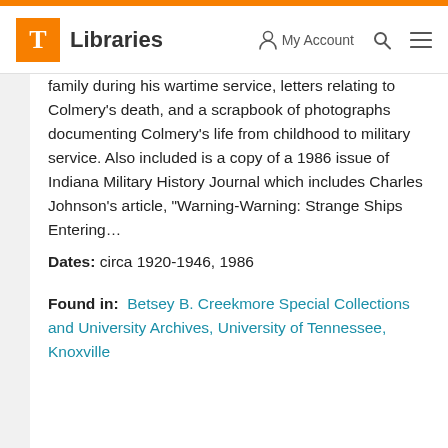T Libraries | My Account | Search | Menu
family during his wartime service, letters relating to Colmery’s death, and a scrapbook of photographs documenting Colmery’s life from childhood to military service. Also included is a copy of a 1986 issue of Indiana Military History Journal which includes Charles Johnson’s article, “Warning-Warning: Strange Ships Entering…
Dates: circa 1920-1946, 1986
Found in: Betsey B. Creekmore Special Collections and University Archives, University of Tennessee, Knoxville